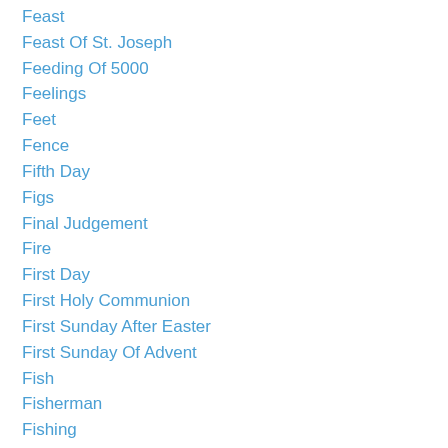Feast
Feast Of St. Joseph
Feeding Of 5000
Feelings
Feet
Fence
Fifth Day
Figs
Final Judgement
Fire
First Day
First Holy Communion
First Sunday After Easter
First Sunday Of Advent
Fish
Fisherman
Fishing
Flexible
Flock
Focus
Follow